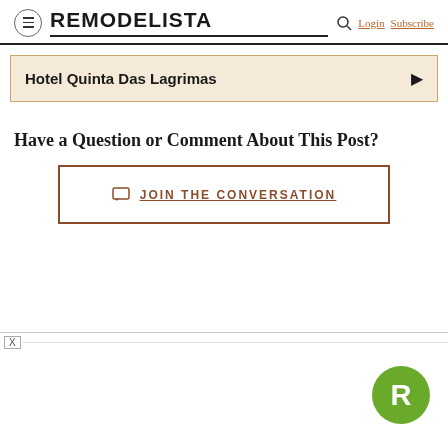REMODELISTA — Login Subscribe
Hotel Quinta Das Lagrimas
Have a Question or Comment About This Post?
JOIN THE CONVERSATION
[Figure (logo): Remodelista R logo circle in green]